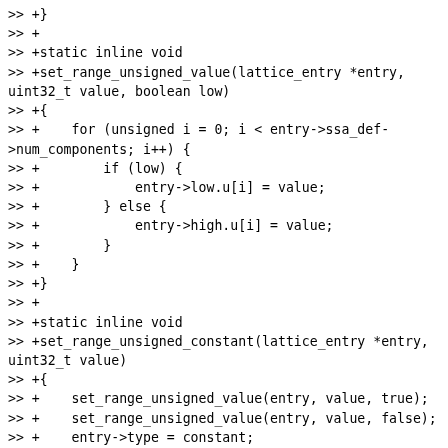>> +}
>> +
>> +static inline void
>> +set_range_unsigned_value(lattice_entry *entry, uint32_t value, boolean low)
>> +{
>> +    for (unsigned i = 0; i < entry->ssa_def->num_components; i++) {
>> +        if (low) {
>> +            entry->low.u[i] = value;
>> +        } else {
>> +            entry->high.u[i] = value;
>> +        }
>> +    }
>> +}
>> +
>> +static inline void
>> +set_range_unsigned_constant(lattice_entry *entry, uint32_t value)
>> +{
>> +    set_range_unsigned_value(entry, value, true);
>> +    set_range_unsigned_value(entry, value, false);
>> +    entry->type = constant;
>> +}
>> +
>> +static nir_const_value
>> +get_type_max(nir_alu_type type, unsigned num_components)
>> +{
>> +    nir_const_value value;